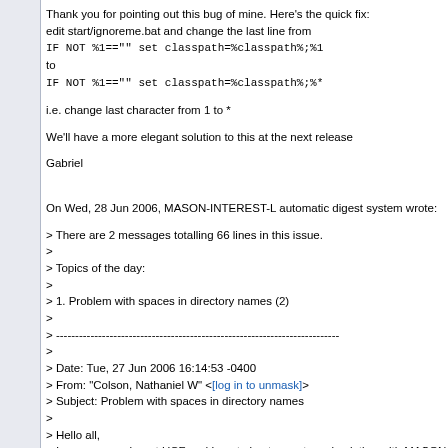Thank you for pointing out this bug of mine. Here's the quick fix:
edit start/ignoreme.bat and change the last line from
IF NOT %1=="" set classpath=%classpath%;%1
to
IF NOT %1=="" set classpath=%classpath%;%*

i.e. change last character from 1 to *

We'll have a more elegant solution to this at the next release

Gabriel
On Wed, 28 Jun 2006, MASON-INTEREST-L automatic digest system wrote:
> There are 2 messages totalling 66 lines in this issue.
>
> Topics of the day:
>
> 1. Problem with spaces in directory names (2)
>
> --------------------------------------------------------------------------
>
> Date: Tue, 27 Jun 2006 16:14:53 -0400
> From: "Colson, Nathaniel W" <[log in to unmask]>
> Subject: Problem with spaces in directory names
>
> Hello all,
> I am a researcher at UCF and I am trying to create a simulation with MASON
 computer. However, the only directory I have permissions to run MASON from
 Settings\user\desktop", and the spaces in the folder name (Documents and Se